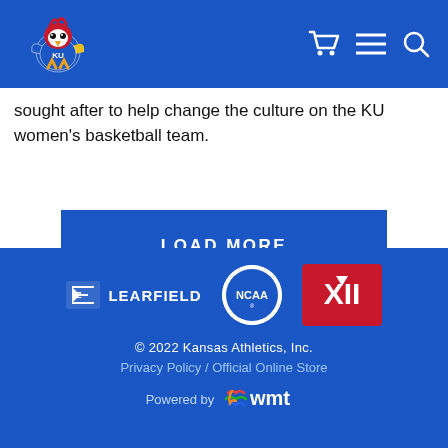[Figure (logo): University of Kansas Jayhawk logo in blue header]
sought after to help change the culture on the KU women's basketball team.
LOAD MORE
[Figure (logo): Footer with Learfield, NCAA, and Big 12 logos]
© 2022 Kansas Athletics, Inc.
Privacy Policy / Official Online Store
Powered by wmt